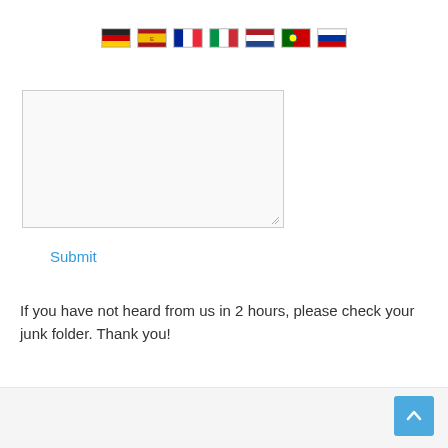[Figure (illustration): Row of 7 country flag icons: Germany, Spain, France, Italy, Netherlands, Portugal, Russia]
[Figure (screenshot): A text area input box with a resize handle in the bottom-right corner, with a light gray background]
Submit
If you have not heard from us in 2 hours, please check your junk folder. Thank you!
[Figure (screenshot): Footer bar with back-to-top arrow button (blue square with upward chevron) in the bottom-right corner]